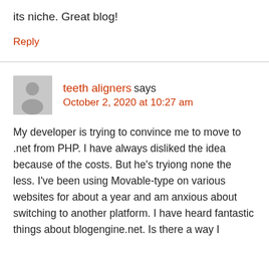its niche. Great blog!
Reply
teeth aligners says
October 2, 2020 at 10:27 am
My developer is trying to convince me to move to .net from PHP. I have always disliked the idea because of the costs. But he's tryiong none the less. I've been using Movable-type on various websites for about a year and am anxious about switching to another platform. I have heard fantastic things about blogengine.net. Is there a way I